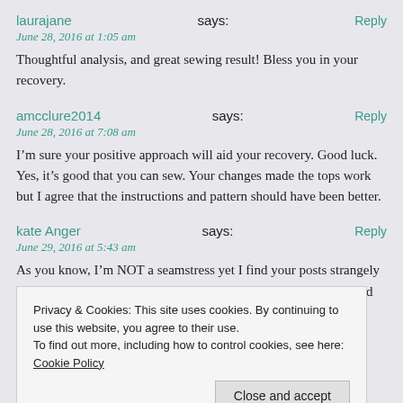laurajane says:
Reply
June 28, 2016 at 1:05 am
Thoughtful analysis, and great sewing result! Bless you in your recovery.
amcclure2014 says:
Reply
June 28, 2016 at 7:08 am
I’m sure your positive approach will aid your recovery. Good luck. Yes, it’s good that you can sew. Your changes made the tops work but I agree that the instructions and pattern should have been better.
kate Anger says:
Reply
June 29, 2016 at 5:43 am
As you know, I’m NOT a seamstress yet I find your posts strangely compelling. I love your editorial voice, your asides, your acquired wisdom y... j...
Privacy & Cookies: This site uses cookies. By continuing to use this website, you agree to their use.
To find out more, including how to control cookies, see here: Cookie Policy
Close and accept
I know I’m a good seamstress, but I have never felt in any way...